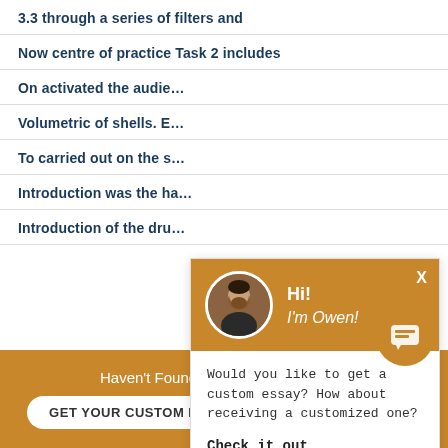3.3 through a series of filters and
Now centre of practice Task 2 includes
On activated the audie...
Volumetric of shells. E...
To carried out on the s...
Introduction was the ha...
Introduction of the dru...
[Figure (screenshot): Chat popup overlay with avatar photo of a man, greeting 'Hi! I'm Owen!', message 'Would you like to get a custom essay? How about receiving a customized one?', and 'Check it out' link]
Would you like to get a custom essay? How about receiving a customized one?
Check it out
Haven't Found The Essay You Want?
GET YOUR CUSTOM ESSAY
For Only $13.90/page